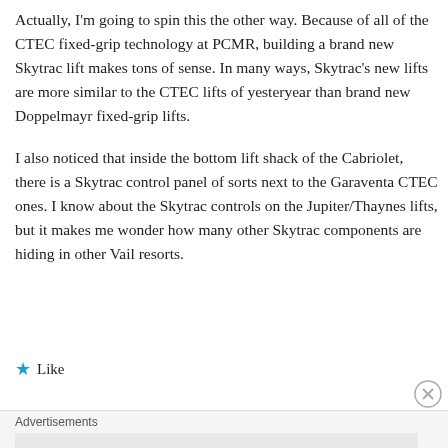Actually, I'm going to spin this the other way. Because of all of the CTEC fixed-grip technology at PCMR, building a brand new Skytrac lift makes tons of sense. In many ways, Skytrac's new lifts are more similar to the CTEC lifts of yesteryear than brand new Doppelmayr fixed-grip lifts.
I also noticed that inside the bottom lift shack of the Cabriolet, there is a Skytrac control panel of sorts next to the Garaventa CTEC ones. I know about the Skytrac controls on the Jupiter/Thaynes lifts, but it makes me wonder how many other Skytrac components are hiding in other Vail resorts.
Like
Advertisements